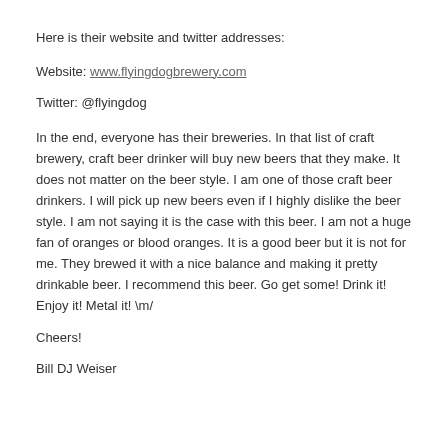Here is their website and twitter addresses:
Website:  www.flyingdogbrewery.com
Twitter:  @flyingdog
In the end, everyone has their breweries.  In that list of craft brewery, craft beer drinker will buy new beers that they make.  It does not matter on the beer style.  I am one of those craft beer drinkers.  I will pick up new beers even if I highly dislike the beer style.  I am not saying it is the case with this beer.  I am not a huge fan of oranges or blood oranges.  It is a good beer but it is not for me. They brewed it with a nice balance and making it pretty drinkable beer.  I recommend this beer.  Go get some!  Drink it!  Enjoy it!  Metal it!  \m/
Cheers!
Bill DJ Weiser